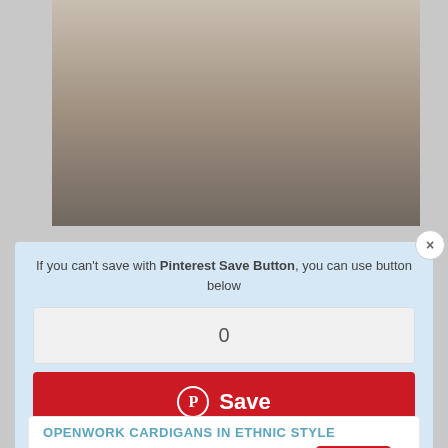[Figure (photo): Top portion of a webpage showing fashion photos of women wearing openwork crochet cardigans in ethnic style. Top image shows lower half of person in cream crochet cardigan with fringe, dark pants. Bottom two images show detail knit patterns of the cardigans.]
If you can't save with Pinterest Save Button, you can use button below
0
Save
OPENWORK CARDIGANS IN ETHNIC STYLE
0
Save
0